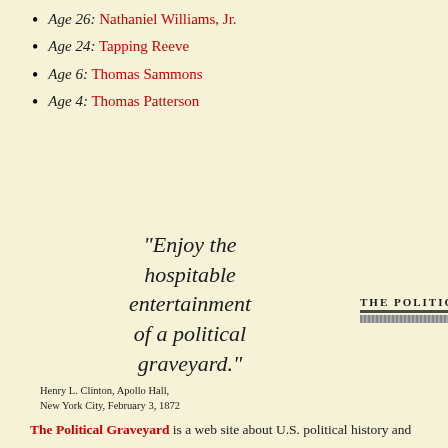Age 26: Nathaniel Williams, Jr.
Age 24: Tapping Reeve
Age 6: Thomas Sammons
Age 4: Thomas Patterson
"Enjoy the hospitable entertainment of a political graveyard."
Henry L. Clinton, Apollo Hall, New York City, February 3, 1872
[Figure (logo): THE POLITICAL GRAVEYARD logo/masthead with decorative text and horizontal rule]
The Political Graveyard is a web site about U.S. political history and